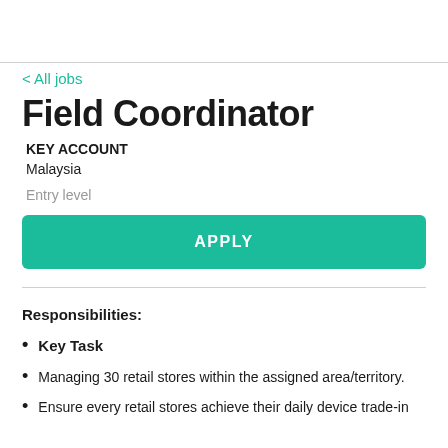< All jobs
Field Coordinator
KEY ACCOUNT
Malaysia
Entry level
APPLY
Responsibilities:
Key Task
Managing 30 retail stores within the assigned area/territory.
Ensure every retail stores achieve their daily device trade-in